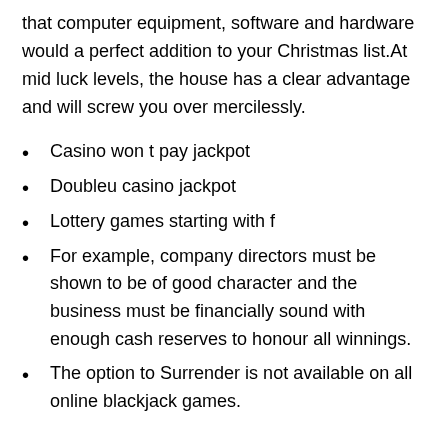that computer equipment, software and hardware would a perfect addition to your Christmas list.At mid luck levels, the house has a clear advantage and will screw you over mercilessly.
Casino won t pay jackpot
Doubleu casino jackpot
Lottery games starting with f
For example, company directors must be shown to be of good character and the business must be financially sound with enough cash reserves to honour all winnings.
The option to Surrender is not available on all online blackjack games.